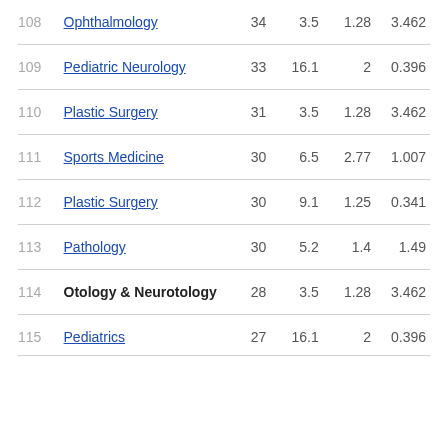| 108 | Ophthalmology | 34 | 3.5 | 1.28 | 3.462 |
| 109 | Pediatric Neurology | 33 | 16.1 | 2 | 0.396 |
| 110 | Plastic Surgery | 31 | 3.5 | 1.28 | 3.462 |
| 111 | Sports Medicine | 30 | 6.5 | 2.77 | 1.007 |
| 112 | Plastic Surgery | 30 | 9.1 | 1.25 | 0.341 |
| 113 | Pathology | 30 | 5.2 | 1.4 | 1.49 |
| 114 | Otology & Neurotology | 28 | 3.5 | 1.28 | 3.462 |
| 115 | Pediatrics | 27 | 16.1 | 2 | 0.396 |